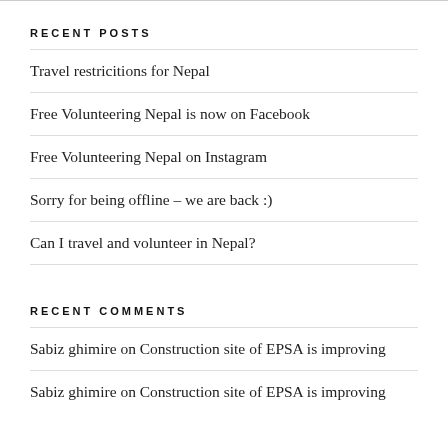RECENT POSTS
Travel restricitions for Nepal
Free Volunteering Nepal is now on Facebook
Free Volunteering Nepal on Instagram
Sorry for being offline – we are back :)
Can I travel and volunteer in Nepal?
RECENT COMMENTS
Sabiz ghimire on Construction site of EPSA is improving
Sabiz ghimire on Construction site of EPSA is improving